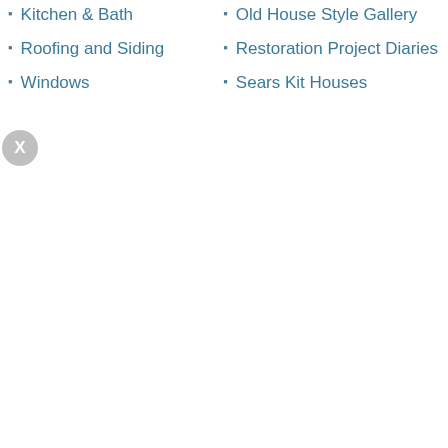Kitchen & Bath
Roofing and Siding
Windows
Old House Style Gallery
Restoration Project Diaries
Sears Kit Houses